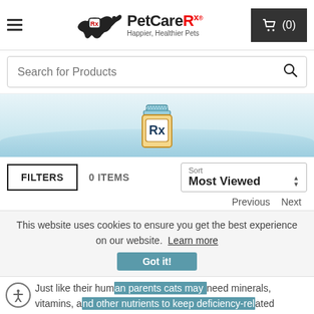[Figure (screenshot): PetCareRx website header with hamburger menu, dog logo, PetCareRx branding, and cart button showing (0)]
[Figure (screenshot): Search bar with placeholder text 'Search for Products' and magnifying glass icon]
[Figure (illustration): Light blue banner with a prescription medicine bottle (Rx) icon in the center]
FILTERS   0 ITEMS   Sort  Most Viewed
This website uses cookies to ensure you get the best experience on our website.  Learn more
Got it!
Just like their human parents cats may need minerals, vitamins, and other nutrients to keep deficiency-related disorders at bay. One of the clear signs of deficiency is excessive shedding. While shedding some amount of hair is completely normal when it